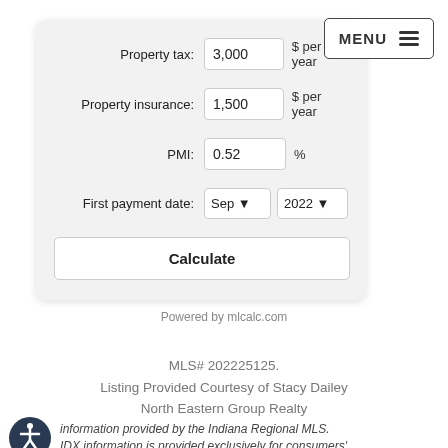[Figure (screenshot): Mortgage calculator form with fields for Property tax (3,000 $ per year), Property insurance (1,500 $ per year), PMI (0.52 %), First payment date (Sep 2022), and a Calculate button.]
MENU ☰
Powered by mlcalc.com
MLS# 202225125.
Listing Provided Courtesy of Stacy Dailey
North Eastern Group Realty
information provided by the Indiana Regional MLS. IDX information is provided exclusively for consumers'